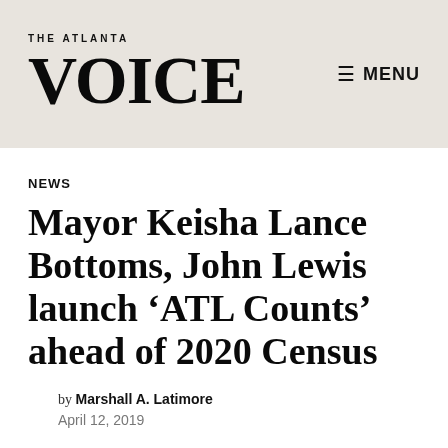THE ATLANTA VOICE | MENU
NEWS
Mayor Keisha Lance Bottoms, John Lewis launch ‘ATL Counts’ ahead of 2020 Census
by Marshall A. Latimore
April 12, 2019